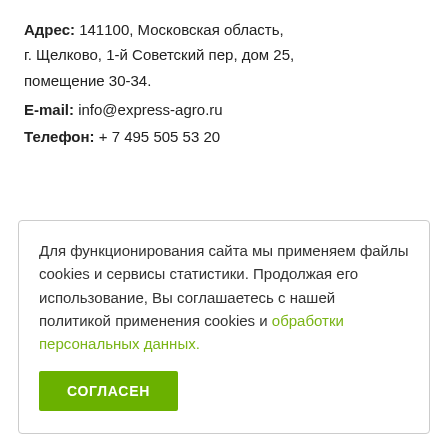Адрес: 141100, Московская область, г. Щелково, 1-й Советский пер, дом 25, помещение 30-34.
E-mail: info@express-agro.ru
Телефон: + 7 495 505 53 20
Для функционирования сайта мы применяем файлы cookies и сервисы статистики. Продолжая его использование, Вы соглашаетесь с нашей политикой применения cookies и обработки персональных данных.
СОГЛАСЕН